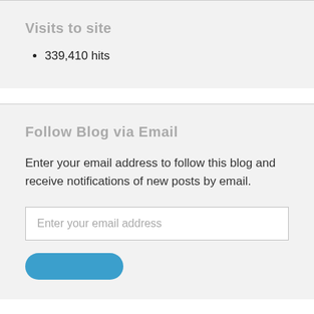Visits to site
339,410 hits
Follow Blog via Email
Enter your email address to follow this blog and receive notifications of new posts by email.
Enter your email address